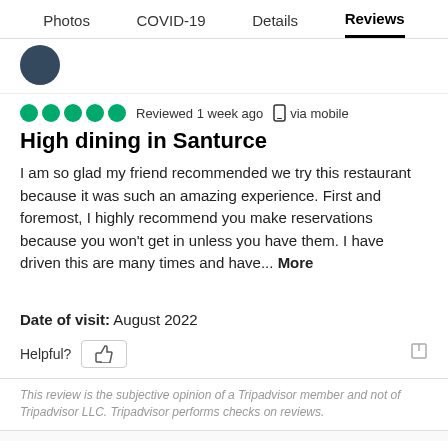Photos   COVID-19   Details   Reviews
Reviewed 1 week ago  via mobile
High dining in Santurce
I am so glad my friend recommended we try this restaurant because it was such an amazing experience. First and foremost, I highly recommend you make reservations because you won't get in unless you have them. I have driven this are many times and have... More
Date of visit: August 2022
Helpful?
This review is the subjective opinion of a Tripadvisor member and not of Tripadvisor LLC. Tripadvisor performs checks on reviews.